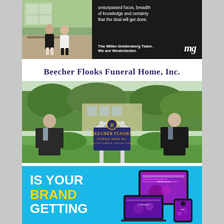[Figure (photo): Top advertisement for Miller-Goldenberg Team showing two women seated outdoors on left side with dark background on right side containing text: 'unsurpassed focus, breadth of knowledge and certainty that the deal will get done. The Miller-Goldenberg Team. We are Westchester.' with mg logo]
Beecher Flooks Funeral Home, Inc.
[Figure (photo): Photo of two men in dark suits standing on either side of a Beecher Flooks Funeral Home Inc. sign, outdoors with green trees and a building in the background. Sign reads: BEECHER FLOOKS FUNERAL HOME INC. WILLIAM T. FLOOKS JR. • WILLIAM J. FLOOKS]
[Figure (photo): Bottom advertisement with cyan/turquoise background. Left side has bold white text 'IS YOUR' and yellow text 'BRAND' and white text 'GETTING' (partially visible). Right side shows tablet, laptop and phone devices displaying a website.]